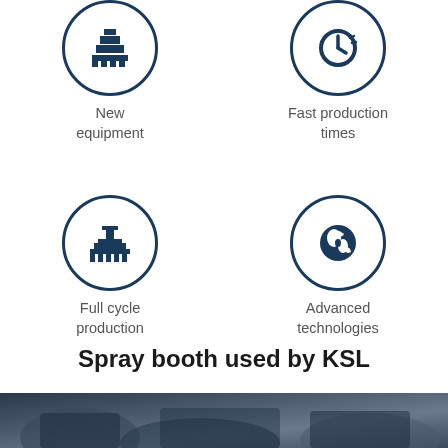[Figure (infographic): Circle icon with new equipment symbol (stacked layers/steps icon) and label 'New equipment']
[Figure (infographic): Circle icon with fast production times symbol (clock/chevron icon) and label 'Fast production times']
[Figure (infographic): Circle icon with full cycle production symbol (building/factory icon) and label 'Full cycle production']
[Figure (infographic): Circle icon with advanced technologies symbol (globe icon) and label 'Advanced technologies']
Spray booth used by KSL
[Figure (photo): Photo of spray booth equipment used by KSL, partially visible at bottom of page]